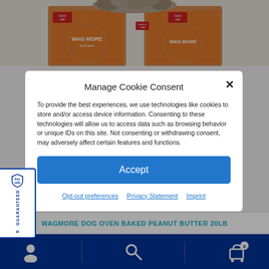[Figure (photo): Product photo of Cloud Star Wag More dog treat boxes with cookies visible at top]
Manage Cookie Consent
To provide the best experiences, we use technologies like cookies to store and/or access device information. Consenting to these technologies will allow us to access data such as browsing behavior or unique IDs on this site. Not consenting or withdrawing consent, may adversely affect certain features and functions.
Accept
Opt-out preferences   Privacy Statement   Imprint
[Figure (logo): BuySafe Guaranteed badge/seal]
WAGMORE DOG OVEN BAKED PEANUT BUTTER 20LB
[Figure (other): Bottom navigation bar with user, search, and cart icons on dark blue background]